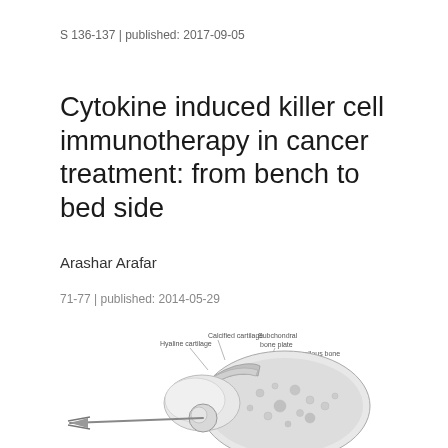S 136-137 | published: 2017-09-05
Cytokine induced killer cell immunotherapy in cancer treatment: from bench to bed side
Arashar Arafar
71-77 | published: 2014-05-29
[Figure (illustration): Medical anatomical illustration of a joint cross-section showing layers including hyaline cartilage, calcified cartilage, subchondral bone plate, and cancellous bone, with a needle or instrument inserted at the joint interface.]